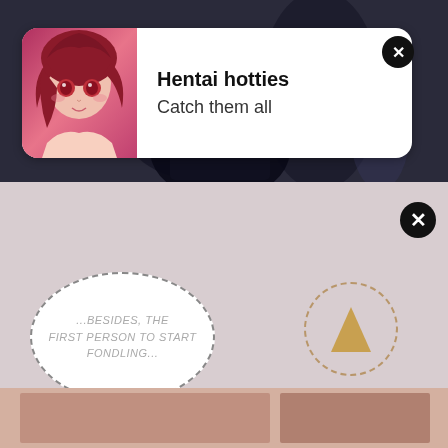[Figure (screenshot): Top section showing dark background with manga/anime scene]
[Figure (infographic): Advertisement card with anime girl character image on left]
Hentai hotties
Catch them all
[Figure (screenshot): Bottom section showing manga page with speech bubble and up arrow circle]
...BESIDES, THE FIRST PERSON TO START FONDLING...